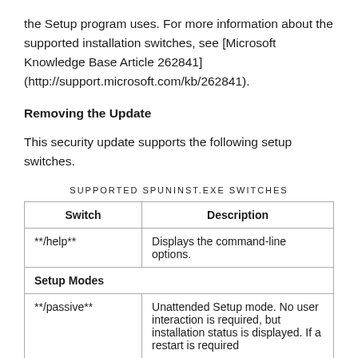the Setup program uses. For more information about the supported installation switches, see [Microsoft Knowledge Base Article 262841] (http://support.microsoft.com/kb/262841).
Removing the Update
This security update supports the following setup switches.
SUPPORTED SPUNINST.EXE SWITCHES
| Switch | Description |
| --- | --- |
| **/help** | Displays the command-line options. |
| Setup Modes |  |
| **/passive** | Unattended Setup mode. No user interaction is required, but installation status is displayed. If a restart is required |